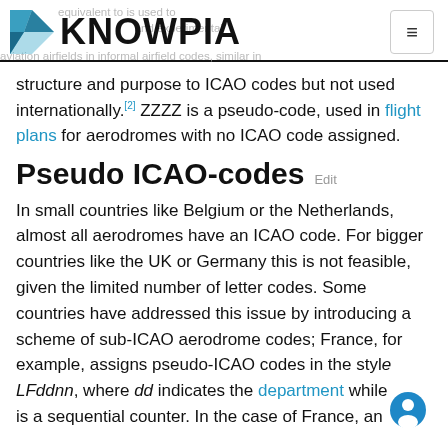KNOWPIA
structure and purpose to ICAO codes but not used internationally.[2] ZZZZ is a pseudo-code, used in flight plans for aerodromes with no ICAO code assigned.
Pseudo ICAO-codes
In small countries like Belgium or the Netherlands, almost all aerodromes have an ICAO code. For bigger countries like the UK or Germany this is not feasible, given the limited number of letter codes. Some countries have addressed this issue by introducing a scheme of sub-ICAO aerodrome codes; France, for example, assigns pseudo-ICAO codes in the style LFddnn, where dd indicates the department while [nn] is a sequential counter. In the case of France, an